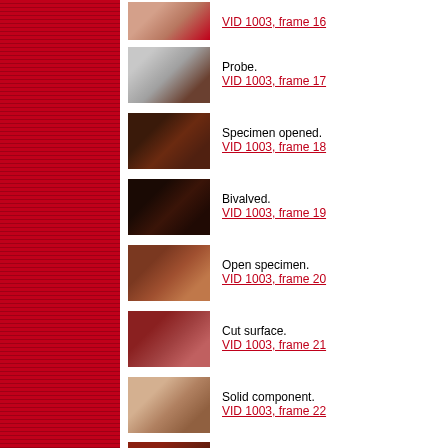[Figure (photo): Medical specimen thumbnail - VID 1003 frame 16]
VID 1003, frame 16
[Figure (photo): Medical specimen thumbnail - Probe. VID 1003 frame 17]
Probe.
VID 1003, frame 17
[Figure (photo): Medical specimen thumbnail - Specimen opened. VID 1003 frame 18]
Specimen opened.
VID 1003, frame 18
[Figure (photo): Medical specimen thumbnail - Bivalved. VID 1003 frame 19]
Bivalved.
VID 1003, frame 19
[Figure (photo): Medical specimen thumbnail - Open specimen. VID 1003 frame 20]
Open specimen.
VID 1003, frame 20
[Figure (photo): Medical specimen thumbnail - Cut surface. VID 1003 frame 21]
Cut surface.
VID 1003, frame 21
[Figure (photo): Medical specimen thumbnail - Solid component. VID 1003 frame 22]
Solid component.
VID 1003, frame 22
[Figure (photo): Medical specimen thumbnail - VID 1003 frame 23]